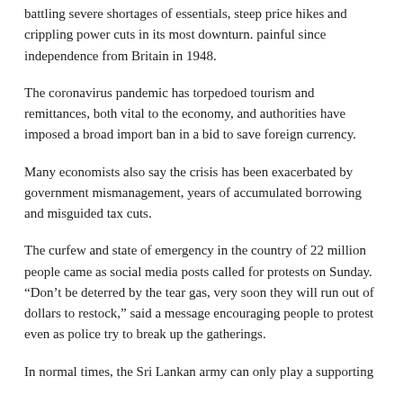battling severe shortages of essentials, steep price hikes and crippling power cuts in its most downturn. painful since independence from Britain in 1948.
The coronavirus pandemic has torpedoed tourism and remittances, both vital to the economy, and authorities have imposed a broad import ban in a bid to save foreign currency.
Many economists also say the crisis has been exacerbated by government mismanagement, years of accumulated borrowing and misguided tax cuts.
The curfew and state of emergency in the country of 22 million people came as social media posts called for protests on Sunday. “Don’t be deterred by the tear gas, very soon they will run out of dollars to restock,” said a message encouraging people to protest even as police try to break up the gatherings.
In normal times, the Sri Lankan army can only play a supporting